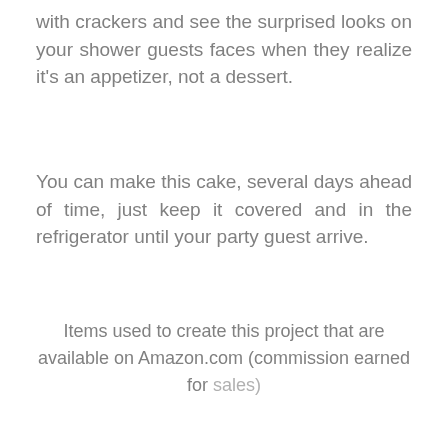with crackers and see the surprised looks on your shower guests faces when they realize it's an appetizer, not a dessert.
You can make this cake, several days ahead of time, just keep it covered and in the refrigerator until your party guest arrive.
Items used to create this project that are available on Amazon.com (commission earned for sales)